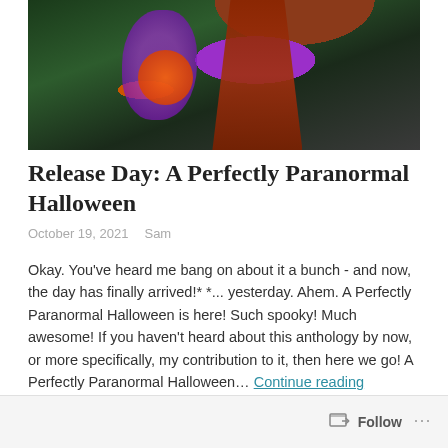[Figure (photo): A Halloween-themed photo showing a person in costume with purple feathers and a glowing orange jack-o-lantern, with long red hair visible against a dark green background.]
Release Day: A Perfectly Paranormal Halloween
October 19, 2021   Sam
Okay. You've heard me bang on about it a bunch - and now, the day has finally arrived!* *... yesterday. Ahem. A Perfectly Paranormal Halloween is here! Such spooky! Much awesome! If you haven't heard about this anthology by now, or more specifically, my contribution to it, then here we go! A Perfectly Paranormal Halloween... Continue reading
Leave a comment
Follow ...